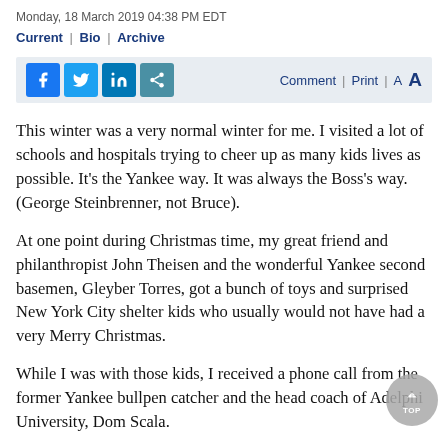Monday, 18 March 2019 04:38 PM EDT
Current | Bio | Archive
This winter was a very normal winter for me. I visited a lot of schools and hospitals trying to cheer up as many kids lives as possible. It’s the Yankee way. It was always the Boss’s way. (George Steinbrenner, not Bruce).
At one point during Christmas time, my great friend and philanthropist John Theisen and the wonderful Yankee second basemen, Gleyber Torres, got a bunch of toys and surprised New York City shelter kids who usually would not have had a very Merry Christmas.
While I was with those kids, I received a phone call from the former Yankee bullpen catcher and the head coach of Adelphi University, Dom Scala.